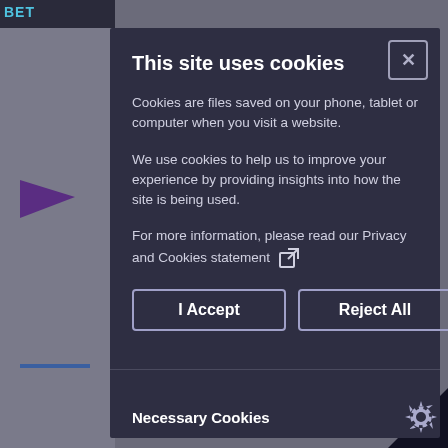This site uses cookies
Cookies are files saved on your phone, tablet or computer when you visit a website.
We use cookies to help us to improve your experience by providing insights into how the site is being used.
For more information, please read our Privacy and Cookies statement
I Accept
Reject All
Necessary Cookies